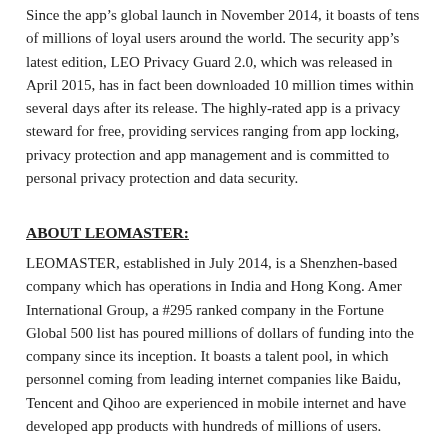Since the app's global launch in November 2014, it boasts of tens of millions of loyal users around the world. The security app's latest edition, LEO Privacy Guard 2.0, which was released in April 2015, has in fact been downloaded 10 million times within several days after its release. The highly-rated app is a privacy steward for free, providing services ranging from app locking, privacy protection and app management and is committed to personal privacy protection and data security.
ABOUT LEOMASTER:
LEOMASTER, established in July 2014, is a Shenzhen-based company which has operations in India and Hong Kong. Amer International Group, a #295 ranked company in the Fortune Global 500 list has poured millions of dollars of funding into the company since its inception. It boasts a talent pool, in which personnel coming from leading internet companies like Baidu, Tencent and Qihoo are experienced in mobile internet and have developed app products with hundreds of millions of users.
As the flagship product of LEOMASTER, LEO Privacy Guard is